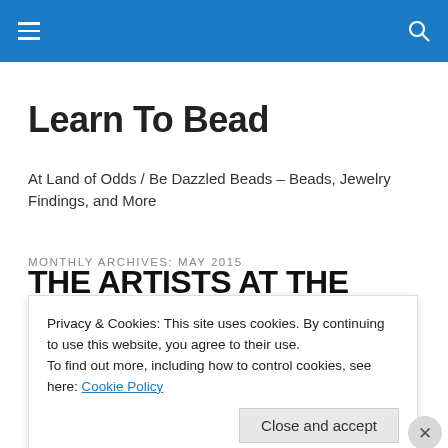Learn To Bead — navigation bar with hamburger menu and search icon
Learn To Bead
At Land of Odds / Be Dazzled Beads – Beads, Jewelry Findings, and More
MONTHLY ARCHIVES: MAY 2015
THE ARTISTS AT THE PARTY
Privacy & Cookies: This site uses cookies. By continuing to use this website, you agree to their use.
To find out more, including how to control cookies, see here: Cookie Policy
Close and accept